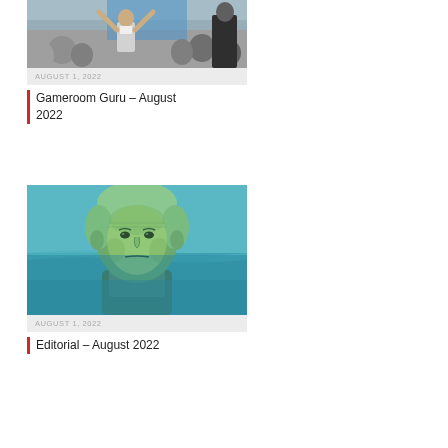[Figure (photo): Man with arms raised at a crowded convention or trade show event]
AUGUST 1, 2022
Gameroom Guru – August 2022
[Figure (photo): George Washington portrait from dollar bill submerged in water with teal/blue tint]
AUGUST 1, 2022
Editorial – August 2022